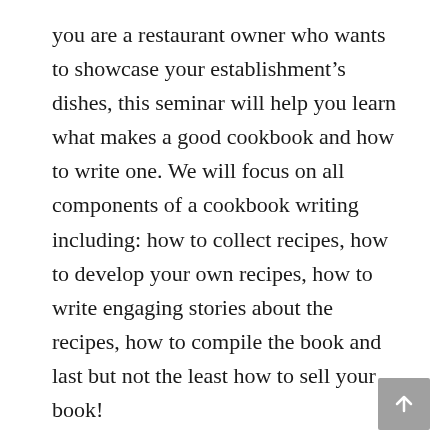you are a restaurant owner who wants to showcase your establishment's dishes, this seminar will help you learn what makes a good cookbook and how to write one. We will focus on all components of a cookbook writing including: how to collect recipes, how to develop your own recipes, how to write engaging stories about the recipes, how to compile the book and last but not the least how to sell your book!
The workshop will cover:
The vast world of cookbooks: Understanding the different types of cookbooks: restaurant cookbooks, single-